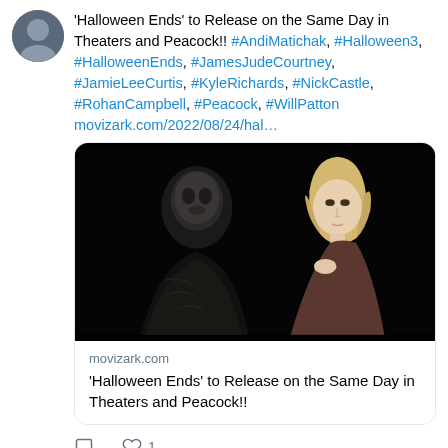'Halloween Ends' to Release on the Same Day in Theaters and Peacock!! #AndiMatichak, #Halloween3, #HalloweenEnds, #JamesJudeCourtney, #JamieLeeCurtis, #KyleRichards, #NickCastle, #RohanCampbell, #Peacock, #WillPatton movizark.com/2022/08/24/hal…
[Figure (photo): Promotional image for Halloween Ends showing Michael Myers (masked killer in dark costume) on the left and a blonde woman (Laurie Strode/Jamie Lee Curtis) on the right against a dark background]
movizark.com
'Halloween Ends' to Release on the Same Day in Theaters and Peacock!!